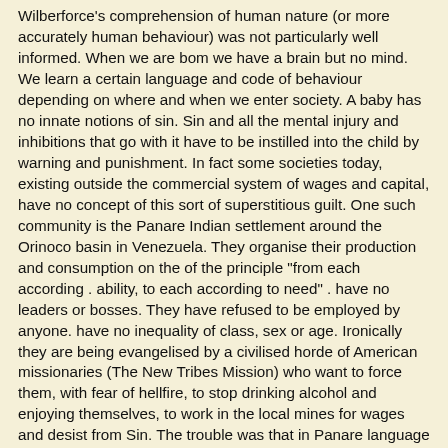Wilberforce's comprehension of human nature (or more accurately human behaviour) was not particularly well informed. When we are born we have a brain but no mind. We learn a certain language and code of behaviour depending on where and when we enter society. A baby has no innate notions of sin. Sin and all the mental injury and inhibitions that go with it have to be instilled into the child by warning and punishment. In fact some societies today, existing outside the commercial system of wages and capital, have no concept of this sort of superstitious guilt. One such community is the Panare Indian settlement around the Orinoco basin in Venezuela. They organise their production and consumption on the of the principle "from each according . ability, to each according to need" . have no leaders or bosses. They have refused to be employed by anyone. have no inequality of class, sex or age. Ironically they are being evangelised by a civilised horde of American missionaries (The New Tribes Mission) who want to force them, with fear of hellfire, to stop drinking alcohol and enjoying themselves, to work in the local mines for wages and desist from Sin. The trouble was that in Panare language there was no word "sin" or "guilt". The idea was not within their social experience. What were missionaries to